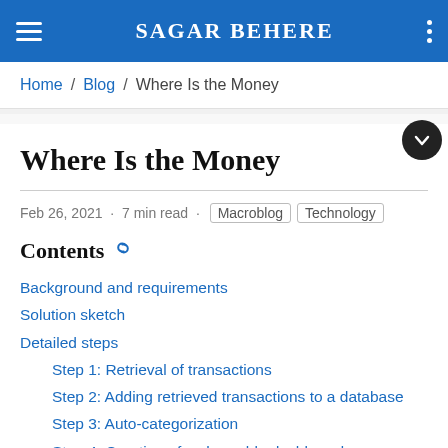SAGAR BEHERE
Home / Blog / Where Is the Money
Where Is the Money
Feb 26, 2021 · 7 min read · Macroblog Technology
Contents
Background and requirements
Solution sketch
Detailed steps
Step 1: Retrieval of transactions
Step 2: Adding retrieved transactions to a database
Step 3: Auto-categorization
Step 4: Creation of a shareable dashboard